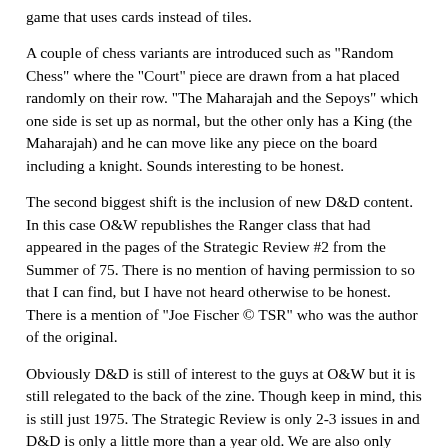game that uses cards instead of tiles.
A couple of chess variants are introduced such as "Random Chess" where the "Court" piece are drawn from a hat placed randomly on their row.  "The Maharajah and the Sepoys" which one side is set up as normal, but the other only has a King (the Maharajah) and he can move like any piece on the board including a knight.  Sounds interesting to be honest.
The second biggest shift is the inclusion of new D&D content.  In this case O&W republishes the Ranger class that had appeared in the pages of the Strategic Review #2 from the Summer of 75.  There is no mention of having permission to so that I can find, but I have not heard otherwise to be honest. There is a mention of "Joe Fischer © TSR" who was the author of the original.
Obviously D&D is still of interest to the guys at O&W but it is still relegated to the back of the zine.  Though keep in mind, this is still just 1975.  The Strategic Review is only 2-3 issues in and D&D is only a little more than a year old.  We are also only 2/5ths through the O&W zines.  It will be interesting to